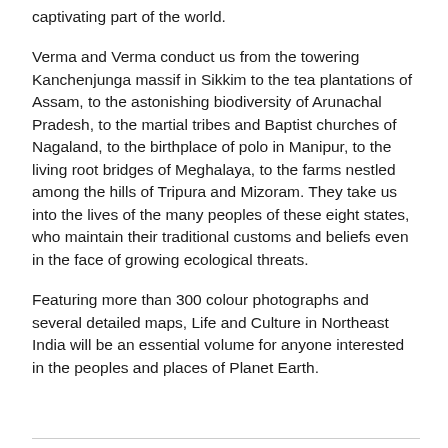captivating part of the world.
Verma and Verma conduct us from the towering Kanchenjunga massif in Sikkim to the tea plantations of Assam, to the astonishing biodiversity of Arunachal Pradesh, to the martial tribes and Baptist churches of Nagaland, to the birthplace of polo in Manipur, to the living root bridges of Meghalaya, to the farms nestled among the hills of Tripura and Mizoram. They take us into the lives of the many peoples of these eight states, who maintain their traditional customs and beliefs even in the face of growing ecological threats.
Featuring more than 300 colour photographs and several detailed maps, Life and Culture in Northeast India will be an essential volume for anyone interested in the peoples and places of Planet Earth.